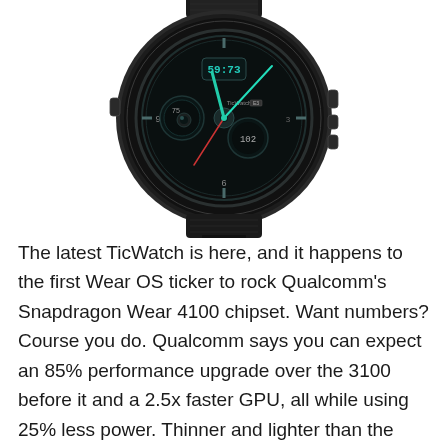[Figure (photo): A TicWatch smartwatch with a round black case and dark leather/rubber strap, showing a detailed mechanical-style watch face with multiple sub-dials, green hands, and TicWatch branding.]
The latest TicWatch is here, and it happens to the first Wear OS ticker to rock Qualcomm's Snapdragon Wear 4100 chipset. Want numbers? Course you do. Qualcomm says you can expect an 85% performance upgrade over the 3100 before it and a 2.5x faster GPU, all while using 25% less power. Thinner and lighter than the original